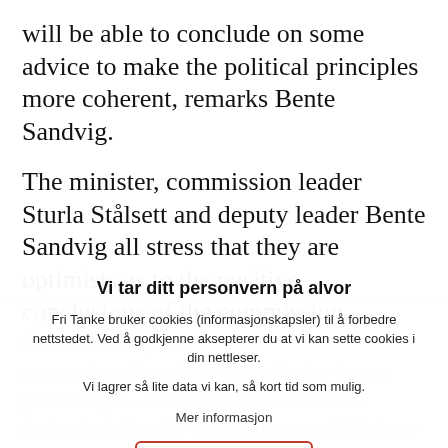will be able to conclude on some advice to make the political principles more coherent, remarks Bente Sandvig.
The minister, commission leader Sturla Stålsett and deputy leader Bente Sandvig all stress that they are optimists as to the positive conclusions of the commission.
«I am loo... I think... time to d... life are personal matters. These subjects also have a public ang...he borderlines we will be trying to define. We intend to succeed. We have a comprehe...in the commission,» Stålsett sta...
Vi tar ditt personvern på alvor
Fri Tanke bruker cookies (informasjonskapsler) til å forbedre nettstedet. Ved å godkjenne aksepterer du at vi kan sette cookies i din nettleser.
Vi lagrer så lite data vi kan, så kort tid som mulig.
Mer informasjon
GODKJENN